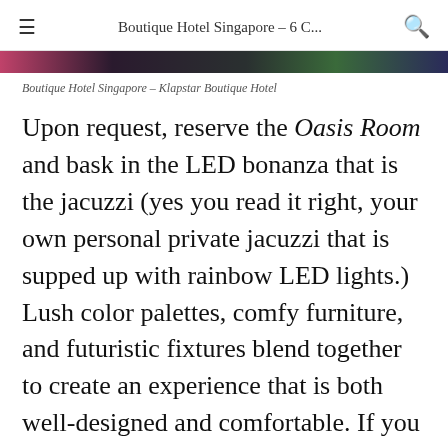Boutique Hotel Singapore – 6 C...
[Figure (photo): Colorful hotel room image strip showing magenta, dark, and green hues]
Boutique Hotel Singapore – Klapstar Boutique Hotel
Upon request, reserve the Oasis Room and bask in the LED bonanza that is the jacuzzi (yes you read it right, your own personal private jacuzzi that is supped up with rainbow LED lights.) Lush color palettes, comfy furniture, and futuristic fixtures blend together to create an experience that is both well-designed and comfortable. If you need to do some quick work, or make some business